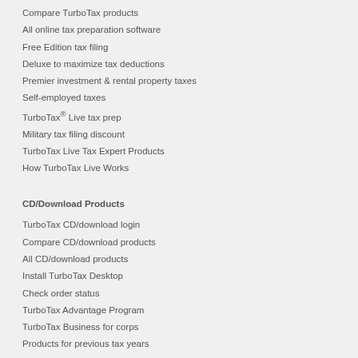Compare TurboTax products
All online tax preparation software
Free Edition tax filing
Deluxe to maximize tax deductions
Premier investment & rental property taxes
Self-employed taxes
TurboTax® Live tax prep
Military tax filing discount
TurboTax Live Tax Expert Products
How TurboTax Live Works
CD/Download Products
TurboTax CD/download login
Compare CD/download products
All CD/download products
Install TurboTax Desktop
Check order status
TurboTax Advantage Program
TurboTax Business for corps
Products for previous tax years